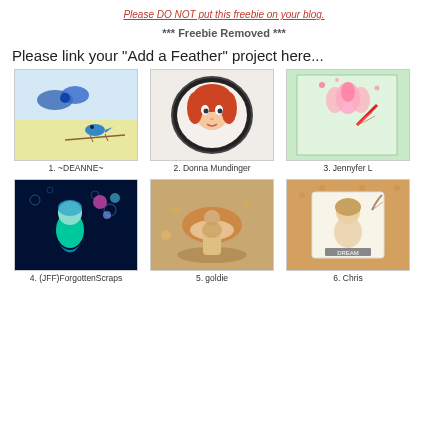Please DO NOT put this freebie on your blog.
*** Freebie Removed ***
Please link your "Add a Feather" project here...
[Figure (photo): Thumbnail 1: card with blue bird and bow]
1. ~DEANNE~
[Figure (photo): Thumbnail 2: illustrated girl with red hair in frame]
2. Donna Mundinger
[Figure (photo): Thumbnail 3: card with lotus flower and red feather]
3. Jennyfer L
[Figure (photo): Thumbnail 4: glowing mermaid on dark background]
4. (JFF)ForgottenScraps
[Figure (photo): Thumbnail 5: sepia-toned girl with mushroom]
5. goldie
[Figure (photo): Thumbnail 6: mixed media card with DREAM text]
6. Chris